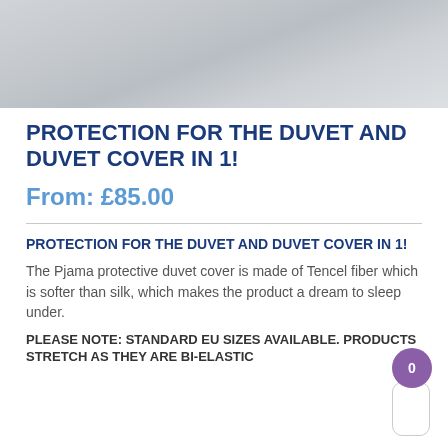[Figure (photo): Product photo of a white duvet cover, close-up fabric texture visible]
PROTECTION FOR THE DUVET AND DUVET COVER IN 1!
From: £85.00
PROTECTION FOR THE DUVET AND DUVET COVER IN 1!
The Pjama protective duvet cover is made of Tencel fiber which is softer than silk, which makes the product a dream to sleep under.
PLEASE NOTE: STANDARD EU SIZES AVAILABLE. PRODUCTS STRETCH AS THEY ARE BI-ELASTIC